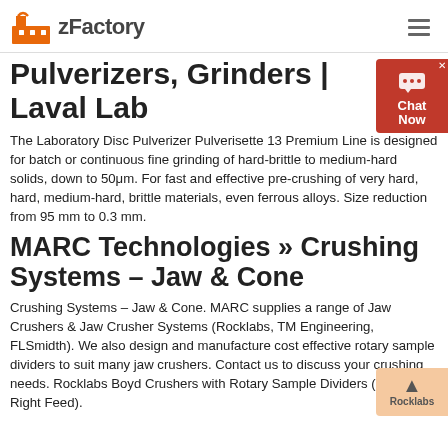zFactory
Pulverizers, Grinders | Laval Lab
The Laboratory Disc Pulverizer Pulverisette 13 Premium Line is designed for batch or continuous fine grinding of hard-brittle to medium-hard solids, down to 50μm. For fast and effective pre-crushing of very hard, hard, medium-hard, brittle materials, even ferrous alloys. Size reduction from 95 mm to 0.3 mm.
MARC Technologies » Crushing Systems – Jaw & Cone
Crushing Systems – Jaw & Cone. MARC supplies a range of Jaw Crushers & Jaw Crusher Systems (Rocklabs, TM Engineering, FLSmidth). We also design and manufacture cost effective rotary sample dividers to suit many jaw crushers. Contact us to discuss your crushing needs. Rocklabs Boyd Crushers with Rotary Sample Dividers (Left or Right Feed).